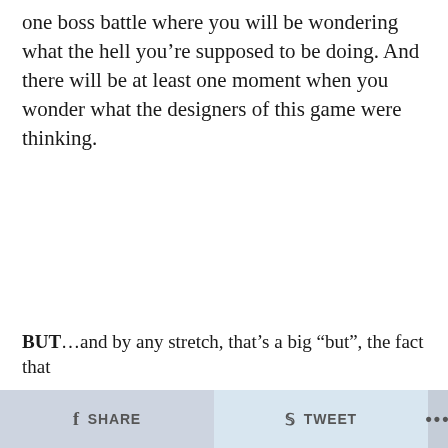one boss battle where you will be wondering what the hell you’re supposed to be doing. And there will be at least one moment when you wonder what the designers of this game were thinking.
BUT…and by any stretch, that’s a big “but”, the fact that
SHARE  TWEET  …